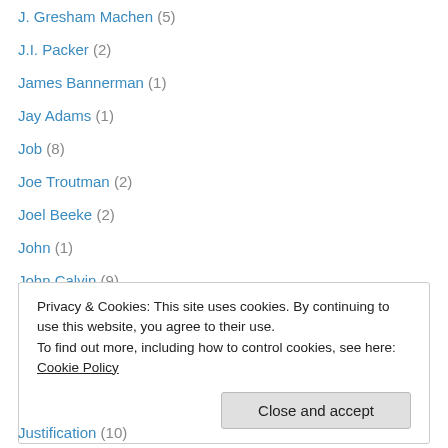J. Gresham Machen (5)
J.I. Packer (2)
James Bannerman (1)
Jay Adams (1)
Job (8)
Joe Troutman (2)
Joel Beeke (2)
John (1)
John Calvin (9)
John Colquhoun (2)
John Flavel (1)
John MacArthur (2)
John Murray (1)
Privacy & Cookies: This site uses cookies. By continuing to use this website, you agree to their use. To find out more, including how to control cookies, see here: Cookie Policy
Justification (10)